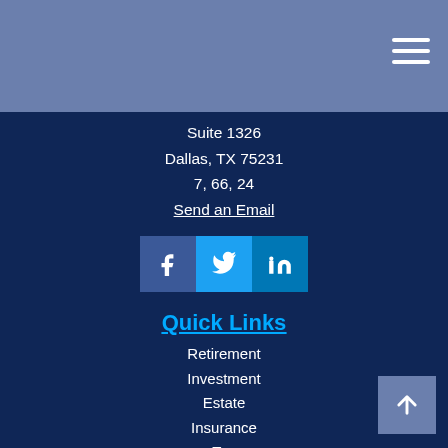[Figure (other): Navigation menu hamburger icon (three horizontal white lines) in top-right of blue header bar]
Suite 1326
Dallas, TX 75231
7, 66, 24
Send an Email
[Figure (other): Social media icons row: Facebook (dark blue), Twitter (light blue), LinkedIn (blue)]
Quick Links
Retirement
Investment
Estate
Insurance
Tax
Money
Lifestyle
All Articles
All Videos
All Calculators
All Presentations